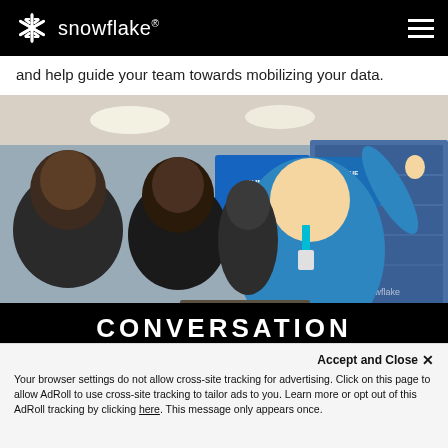snowflake®
and help guide your team towards mobilizing your data.
[Figure (photo): Conference event photo showing a presenter in a blue t-shirt pointing at a large display screen while two attendees watch; a Snowflake Summit banner and 'Ask the Expert' sign are visible in the background]
CONVERSATION
Accept and Close ✕
Your browser settings do not allow cross-site tracking for advertising. Click on this page to allow AdRoll to use cross-site tracking to tailor ads to you. Learn more or opt out of this AdRoll tracking by clicking here. This message only appears once.
Connect with thousands of your peers virtually and learn